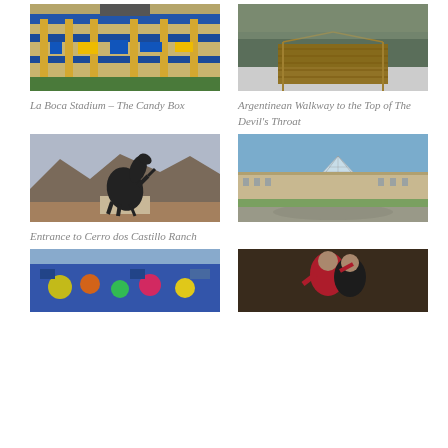[Figure (photo): La Boca Stadium exterior with colorful billboard and yellow structure]
La Boca Stadium – The Candy Box
[Figure (photo): Argentinean boardwalk/walkway over water leading to the top of The Devil's Throat at Iguazu Falls]
Argentinean Walkway to the Top of The Devil's Throat
[Figure (photo): Dark sculpture of a rearing horse at the entrance to Cerro dos Castillo Ranch with mountains in background]
Entrance to Cerro dos Castillo Ranch
[Figure (photo): The Louvre museum in Paris with the glass pyramid visible and blue sky]
[Figure (photo): Colorful mural on blue building facade]
[Figure (photo): Two people dancing tango, woman in red top seen from behind]